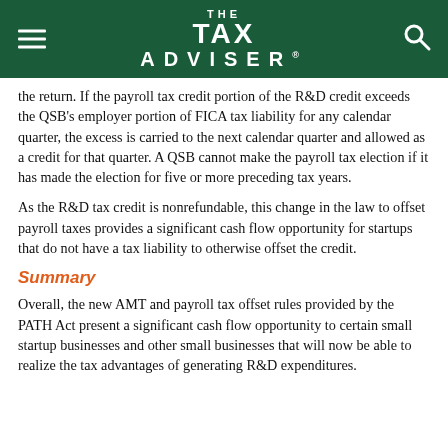THE TAX ADVISER
the return. If the payroll tax credit portion of the R&D credit exceeds the QSB's employer portion of FICA tax liability for any calendar quarter, the excess is carried to the next calendar quarter and allowed as a credit for that quarter. A QSB cannot make the payroll tax election if it has made the election for five or more preceding tax years.
As the R&D tax credit is nonrefundable, this change in the law to offset payroll taxes provides a significant cash flow opportunity for startups that do not have a tax liability to otherwise offset the credit.
Summary
Overall, the new AMT and payroll tax offset rules provided by the PATH Act present a significant cash flow opportunity to certain small startup businesses and other small businesses that will now be able to realize the tax advantages of generating R&D expenditures.